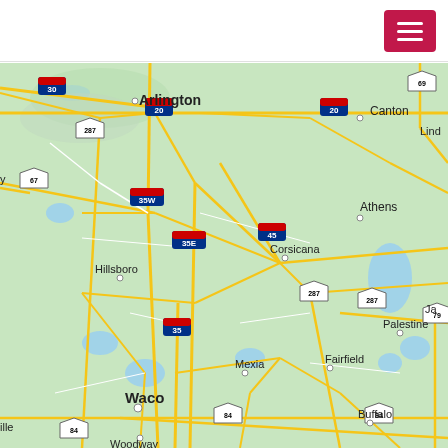[Figure (map): Road map of central Texas showing cities including Arlington, Canton, Athens, Corsicana, Hillsboro, Waco, Mexia, Fairfield, Palestine, Buffalo, Woodway; highways including I-20, I-35, I-35E, I-35W, I-30, US-67, US-287, US-84, US-79, Hwy 45, Hwy 69]